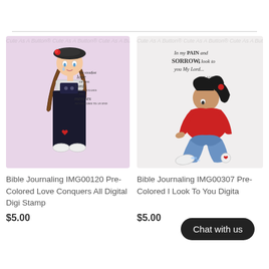[Figure (illustration): Digital stamp illustration of a girl in black overalls with beret and red rose, with text 'the steadfast love of the Lord never ceases his mercies never come to an end' on pink watermarked background]
Bible Journaling IMG00120 Pre-Colored Love Conquers All Digital Digi Stamp
$5.00
[Figure (illustration): Digital stamp illustration of a girl kneeling in red sweater and jeans with ponytail, with text 'In my PAIN and SORROW, I look to you My Lord...' on white watermarked background]
Bible Journaling IMG00307 Pre-Colored I Look To You Digital Digi Stamp
$5.00